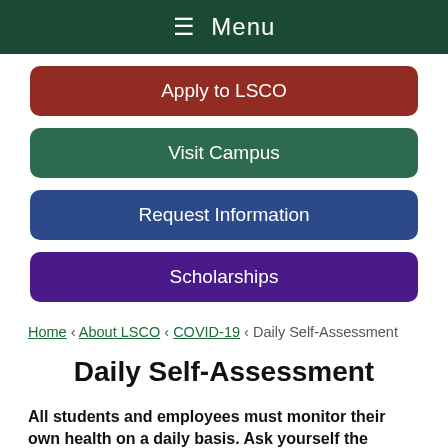≡ Menu
Apply to LSCO
Visit Campus
Request Information
Scholarships
Home ‹ About LSCO ‹ COVID-19 ‹ Daily Self-Assessment
Daily Self-Assessment
All students and employees must monitor their own health on a daily basis. Ask yourself the following